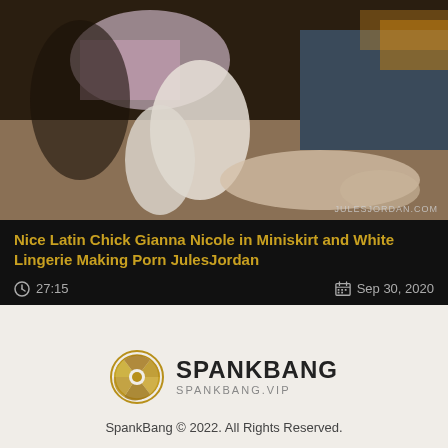[Figure (photo): Video thumbnail showing adult content from JulesJordan.com]
Nice Latin Chick Gianna Nicole in Miniskirt and White Lingerie Making Porn JulesJordan
27:15    Sep 30, 2020
[Figure (logo): SpankBang logo with camera aperture icon and text SPANKBANG / SPANKBANG.VIP]
SpankBang © 2022. All Rights Reserved.